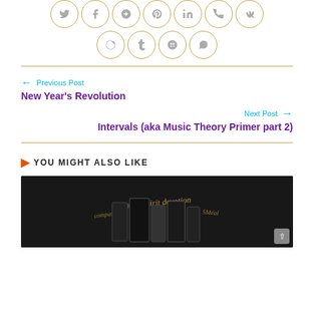[Figure (other): Social media sharing icons in two rows: Twitter, Facebook, Google+, Pinterest, LinkedIn, Phone, VK in row 1; Reddit, Tumblr, Blogger/G, WhatsApp in row 2. Each icon in a gold-bordered circle.]
← Previous Post
New Year's Revolution
Next Post →
Intervals (aka Music Theory Primer part 2)
YOU MIGHT ALSO LIKE
[Figure (photo): Dark background thumbnail image with calligraphic text reading 'indie Spirit devotion' and music/book related items visible.]